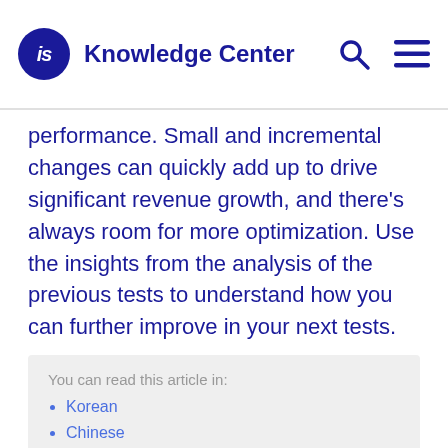iS Knowledge Center
performance. Small and incremental changes can quickly add up to drive significant revenue growth, and there’s always room for more optimization. Use the insights from the analysis of the previous tests to understand how you can further improve in your next tests.
You can read this article in:
Korean
Chinese